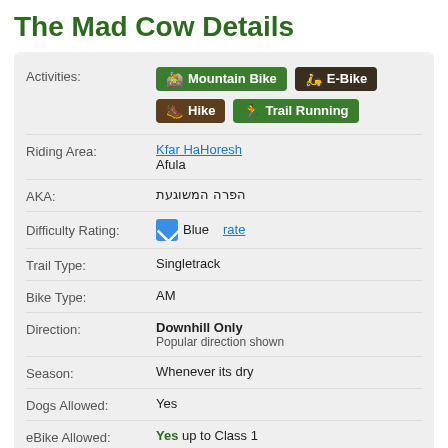The Mad Cow Details
| Field | Value |
| --- | --- |
| Activities: | Mountain Bike | E-Bike | Hike | Trail Running |
| Riding Area: | Kfar HaHoresh
Afula |
| AKA: | הפרה המשוגעת |
| Difficulty Rating: | Blue  rate |
| Trail Type: | Singletrack |
| Bike Type: | AM |
| Direction: | Downhill Only
Popular direction shown |
| Season: | Whenever its dry |
| Dogs Allowed: | Yes |
| eBike Allowed: | Yes up to Class 1 |
| TTFs on Trail: | Jump |